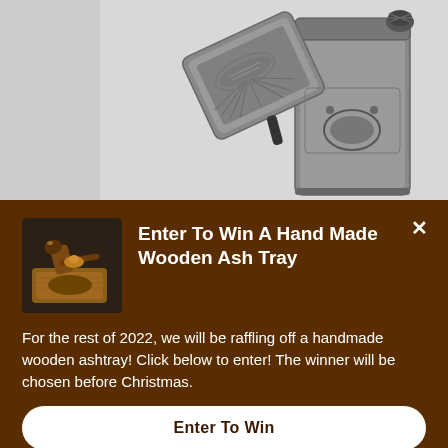[Figure (photo): Product photo of an engraved metal Zippo-style lighter shown open, with decorative etched design on a gray background]
[Figure (photo): Small thumbnail of a handmade wooden ashtray with pipe accessories on a dark background]
Enter To Win A Hand Made Wooden Ash Tray
For the rest of 2022, we will be raffling off a handmade wooden ashtray! Click below to enter! The winner will be chosen before Christmas.
Enter To Win